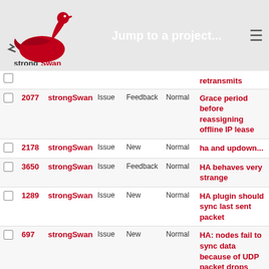strongSwan — Jump to a project...
|  | # | Project | Type | Status | Priority | Subject |
| --- | --- | --- | --- | --- | --- | --- |
|  |  |  |  |  |  | retransmits |
|  | 2077 | strongSwan | Issue | Feedback | Normal | Grace period before reassigning offline IP lease |
|  | 2178 | strongSwan | Issue | New | Normal | ha and updown... |
|  | 3650 | strongSwan | Issue | Feedback | Normal | HA behaves very strange |
|  | 1289 | strongSwan | Issue | New | Normal | HA plugin should sync last sent packet |
|  | 697 | strongSwan | Issue | New | Normal | HA: nodes fail to sync data because of UDP packet drops |